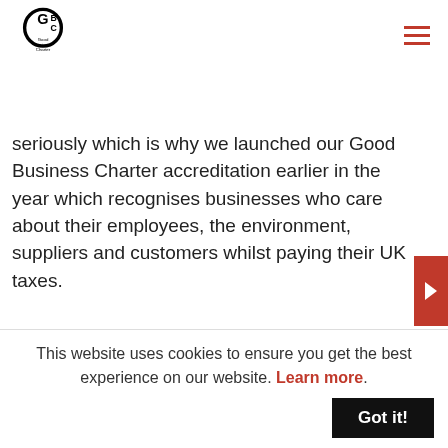Good Business Charter
seriously which is why we launched our Good Business Charter accreditation earlier in the year which recognises businesses who care about their employees, the environment, suppliers and customers whilst paying their UK taxes.
Here is the Build Back Better statement in full:
As we emerge from this crisis, now is the time to Build Back Better.
To do so we must heed the lessons it has taught:
This website uses cookies to ensure you get the best experience on our website. Learn more. Got it!